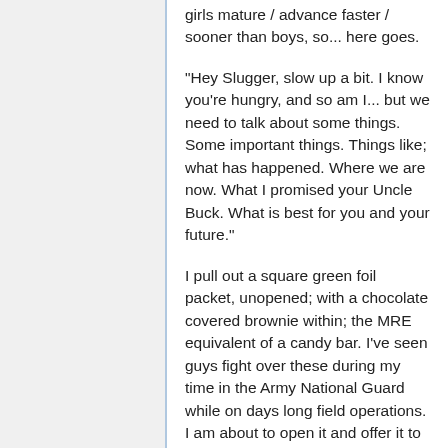girls mature / advance faster / sooner than boys, so... here goes.
"Hey Slugger, slow up a bit. I know you're hungry, and so am I... but we need to talk about some things. Some important things. Things like; what has happened. Where we are now. What I promised your Uncle Buck. What is best for you and your future."
I pull out a square green foil packet, unopened; with a chocolate covered brownie within; the MRE equivalent of a candy bar. I've seen guys fight over these during my time in the Army National Guard while on days long field operations. I am about to open it and offer it to Slugger, but then stop myself and hold it out, unopened.
"First: an important lesson, to keep